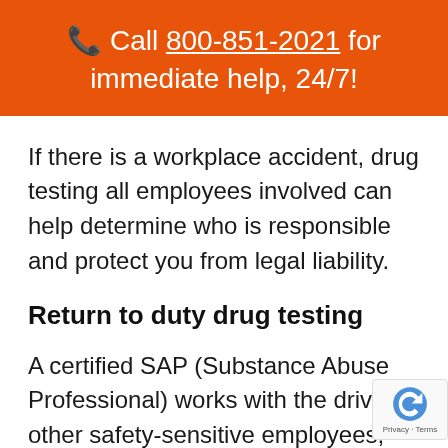📞 Call 800-851-2021 for immediate help, 24/7!
If there is a workplace accident, drug testing all employees involved can help determine who is responsible and protect you from legal liability.
Return to duty drug testing
A certified SAP (Substance Abuse Professional) works with the driver, other safety-sensitive employees, who